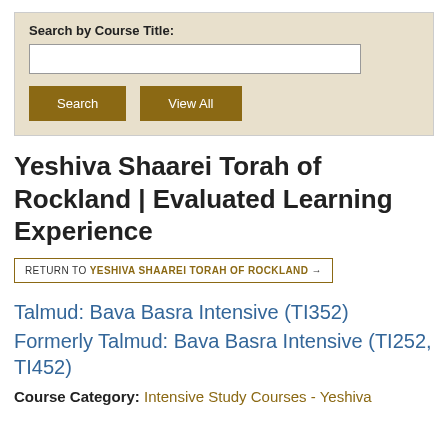[Figure (screenshot): Search by Course Title form with text input, Search button, and View All button on a beige background]
Yeshiva Shaarei Torah of Rockland | Evaluated Learning Experience
RETURN TO YESHIVA SHAAREI TORAH OF ROCKLAND →
Talmud: Bava Basra Intensive (TI352)
Formerly Talmud: Bava Basra Intensive (TI252, TI452)
Course Category: Intensive Study Courses - Yeshiva